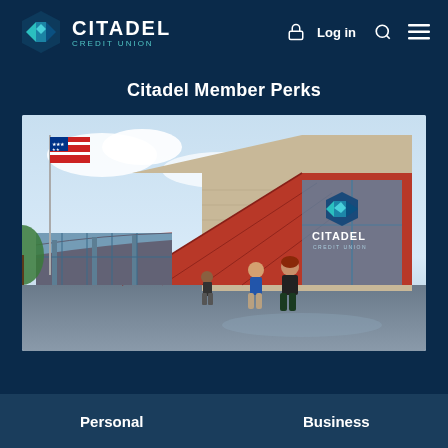CITADEL CREDIT UNION — Log in
Citadel Member Perks
[Figure (photo): Exterior photo of a Citadel Credit Union branch building with a distinctive triangular roofline, red metal roof, stone facade, and large glass windows. An American flag flies on a pole to the left. Two people are walking toward the entrance, and the Citadel Credit Union logo and name are displayed on the right wall of the building.]
Personal   Business